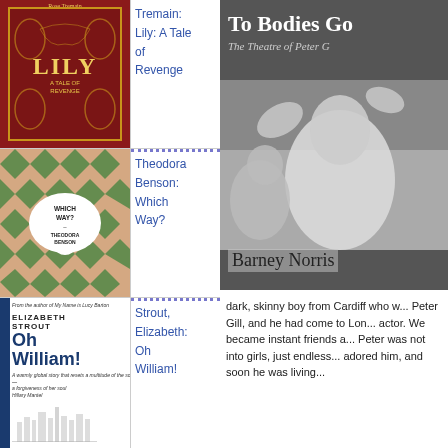[Figure (illustration): Book cover: Rose Tremain, Lily: A Tale of Revenge - dark red cover with gold ornamental design and title LILY]
Tremain: Lily: A Tale of Revenge
[Figure (illustration): Book cover: Theodora Benson, Which Way? - pink and green diamond pattern with speech bubble]
Theodora Benson: Which Way?
[Figure (illustration): Book cover: Elizabeth Strout, Oh William! - white cover with navy blue spine]
Strout, Elizabeth: Oh William!
[Figure (photo): Black and white photograph of young people laughing on a bed, with text 'To Bodies Gor...' and 'The Theatre of Peter G...' and 'Barney Norris' — book cover for theatre book]
dark, skinny boy from Cardiff who w... Peter Gill, and he had come to Lon... actor. We became instant friends a... Peter was not into girls, just endless... adored him, and soon he was living...